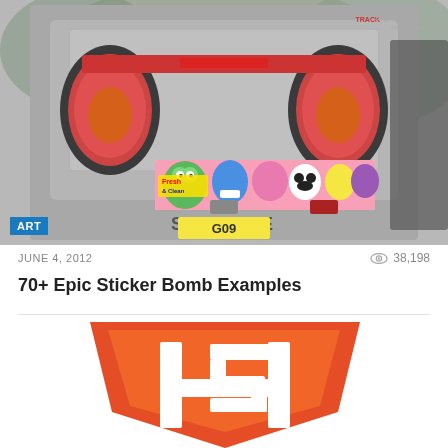[Figure (photo): Rear view of a silver Nissan Skyline car with a colorful sticker bomb strip across the rear, showing cartoon characters including a green frog and a skull. UK license plate partially visible reading G09. Text 'SKYLINE' on boot. TrackPhotography watermark in top right. Blue ART badge overlay in bottom left corner.]
JUNE 4, 2012
38,198
70+ Epic Sticker Bomb Examples
[Figure (logo): HTML5 shield logo in orange and white, partially cropped showing the top portion of the logo]